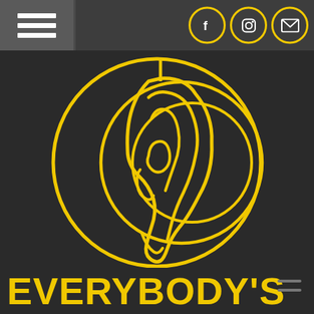[Figure (logo): Navigation header bar with hamburger menu icon on the left, and three social media icons (Facebook, Instagram, Email) in yellow circles on the right, on a dark gray background]
[Figure (logo): Everybody's ear logo: a stylized yellow ear illustration inside concentric yellow circles on a dark background, representing a music or media brand]
EVERYBODY'S